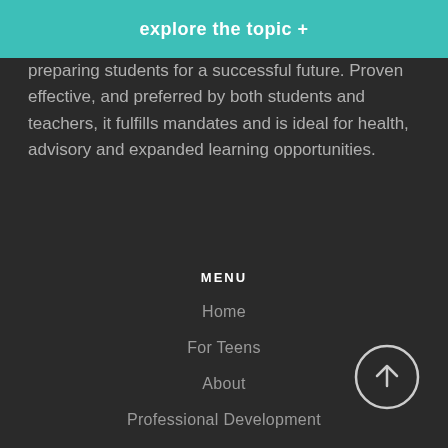explore the topic +
preparing students for a successful future. Proven effective, and preferred by both students and teachers, it fulfills mandates and is ideal for health, advisory and expanded learning opportunities.
MENU
Home
For Teens
About
Professional Development